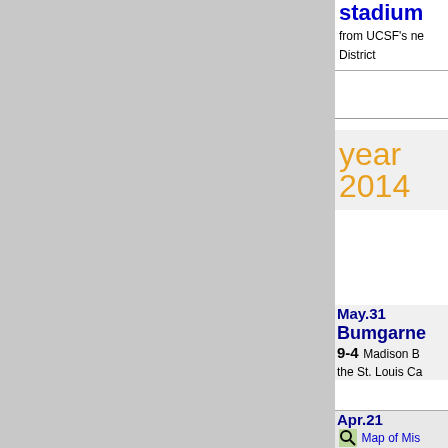[Figure (screenshot): Gray panel occupying left two-thirds of page]
stadium from UCSF's ne District
year 2014
May.31 Bumgarner 9-4 Madison B the St. Louis Ca
Apr.21 Warriors Map of Mis The Golden State Warriors have abandoned their plan to build an arena on Piers 30-32 to hold a new